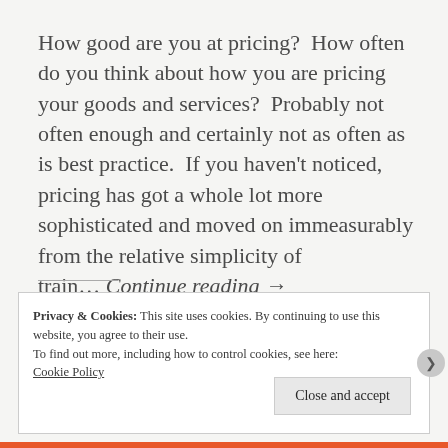How good are you at pricing?  How often do you think about how you are pricing your goods and services?  Probably not often enough and certainly not as often as is best practice.  If you haven't noticed, pricing has got a whole lot more sophisticated and moved on immeasurably from the relative simplicity of train… Continue reading →
Privacy & Cookies: This site uses cookies. By continuing to use this website, you agree to their use.
To find out more, including how to control cookies, see here: Cookie Policy